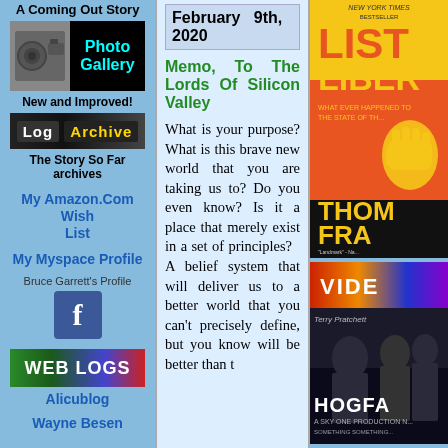A Coming Out Story
[Figure (photo): Photo Gallery box with black background, photo of men with camera on left, and cyan 'Photo Gallery' text on right]
New and Improved!
[Figure (logo): Log Archive banner with dark background and yellow text]
The Story So Far archives
My Amazon.Com Wish List
My Myspace Profile
Bruce Garrett's Profile
[Figure (logo): Facebook logo icon in blue]
[Figure (logo): WEB LOGS banner with colorful gradient background]
Alicublog
Wayne Besen
February 9th, 2020
Memo, To The Lords Of Silicon Valley
What is your purpose? What is this brave new world that you are taking us to? Do you even know? Is it a place that merely exist in a set of principles? A belief system that will deliver us to a better world that you can't precisely define, but you know will be better than t
[Figure (illustration): Book cover: Listen Liberal by Thomas Frank, New York Times bestseller, yellow and orange cover with fist graphic]
[Figure (logo): VIDEO banner with colorful gradient]
[Figure (photo): Hogfather movie cover with dark background, characters in formal wear]